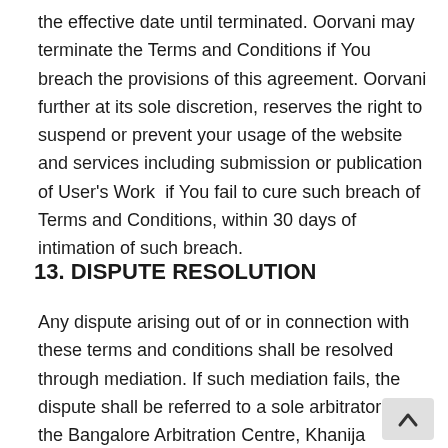the effective date until terminated. Oorvani may terminate the Terms and Conditions if You breach the provisions of this agreement. Oorvani further at its sole discretion, reserves the right to suspend or prevent your usage of the website and services including submission or publication of User's Work  if You fail to cure such breach of Terms and Conditions, within 30 days of intimation of such breach.
13. DISPUTE RESOLUTION
Any dispute arising out of or in connection with these terms and conditions shall be resolved through mediation. If such mediation fails, the dispute shall be referred to a sole arbitrator in the Bangalore Arbitration Centre, Khanija Bhavan, Bangalore. The language of the arbitration as well as award shall be English.